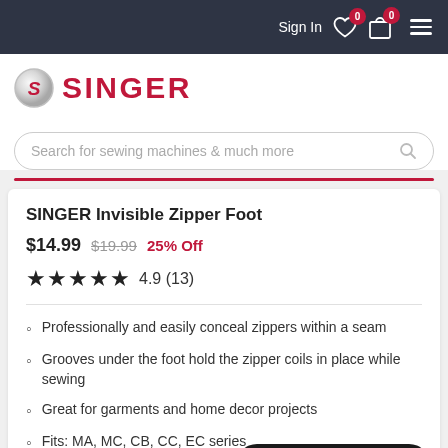Sign In  0  0
[Figure (logo): Singer brand logo with red S circle and red SINGER wordmark]
Search for sewing machines & much more
SINGER Invisible Zipper Foot
$14.99  $19.99  25% Off
★★★★★ 4.9 (13)
Professionally and easily conceal zippers within a seam
Grooves under the foot hold the zipper coils in place while sewing
Great for garments and home decor projects
Fits: MA, MC, CB, CC, EC series
Chat with an Expert